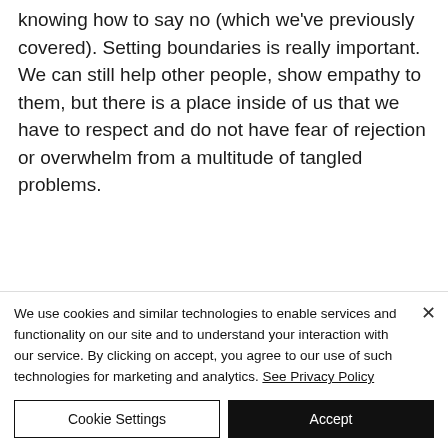knowing how to say no (which we've previously covered). Setting boundaries is really important. We can still help other people, show empathy to them, but there is a place inside of us that we have to respect and do not have fear of rejection or overwhelm from a multitude of tangled problems.
We use cookies and similar technologies to enable services and functionality on our site and to understand your interaction with our service. By clicking on accept, you agree to our use of such technologies for marketing and analytics. See Privacy Policy